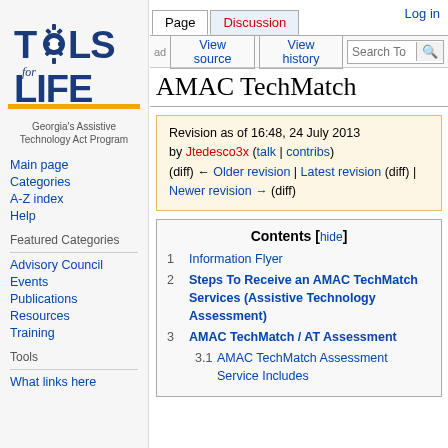Log in
[Figure (logo): Tools for Life logo with gears and text, Georgia's Assistive Technology Act Program]
Main page
Categories
A-Z index
Help
Featured Categories
Advisory Council
Events
Publications
Resources
Training
Tools
What links here
AMAC TechMatch
Revision as of 16:48, 24 July 2013 by Jtedesco3x (talk | contribs) (diff) ← Older revision | Latest revision (diff) | Newer revision → (diff)
Contents [hide]
1 Information Flyer
2 Steps To Receive an AMAC TechMatch Services (Assistive Technology Assessment)
3 AMAC TechMatch / AT Assessment
3.1 AMAC TechMatch Assessment Service Includes